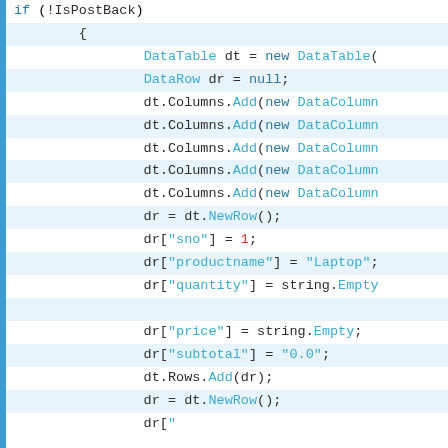[Figure (screenshot): Code editor screenshot showing C# ASP.NET code snippet with syntax highlighting. Code initializes a DataTable, adds DataColumns, creates DataRows with values for sno, productname, quantity, price, subtotal fields.]